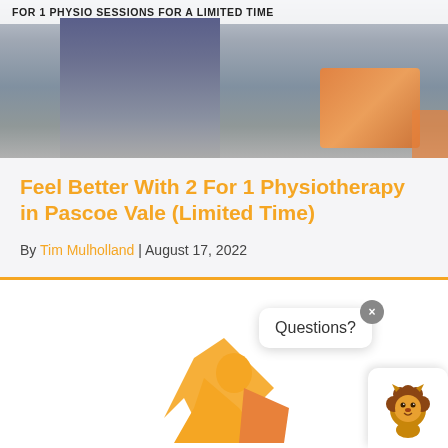[Figure (photo): Photo banner with text overlay reading 'FOR 1 PHYSIO SESSIONS FOR A LIMITED TIME', showing a person in jeans and an orange/desk element on the right]
Feel Better With 2 For 1 Physiotherapy in Pascoe Vale (Limited Time)
By Tim Mulholland | August 17, 2022
[Figure (logo): Orange running/physio logo mark partially visible at the bottom center]
[Figure (screenshot): Chat widget with close (x) button and 'Questions?' speech bubble, with a lion mascot icon]